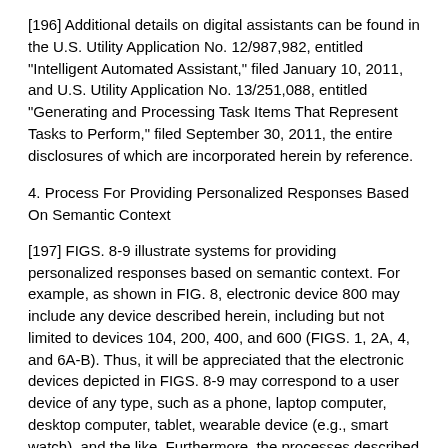[196] Additional details on digital assistants can be found in the U.S. Utility Application No. 12/987,982, entitled "Intelligent Automated Assistant," filed January 10, 2011, and U.S. Utility Application No. 13/251,088, entitled "Generating and Processing Task Items That Represent Tasks to Perform," filed September 30, 2011, the entire disclosures of which are incorporated herein by reference.
4. Process For Providing Personalized Responses Based On Semantic Context
[197] FIGS. 8-9 illustrate systems for providing personalized responses based on semantic context. For example, as shown in FIG. 8, electronic device 800 may include any device described herein, including but not limited to devices 104, 200, 400, and 600 (FIGS. 1, 2A, 4, and 6A-B). Thus, it will be appreciated that the electronic devices depicted in FIGS. 8-9 may correspond to a user device of any type, such as a phone, laptop computer, desktop computer, tablet, wearable device (e.g., smart watch), and the like. Furthermore, the processes described herein may be performed by a server with information delivered to and from the device, performed on the device,